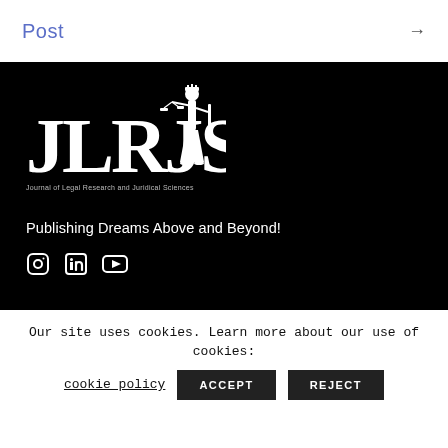Post →
[Figure (logo): JLRJS - Journal of Legal Research and Juridical Sciences logo on black background with Lady Justice icon, tagline 'Publishing Dreams Above and Beyond!' and social media icons (Instagram, LinkedIn, YouTube)]
Our site uses cookies. Learn more about our use of cookies: cookie policy ACCEPT REJECT